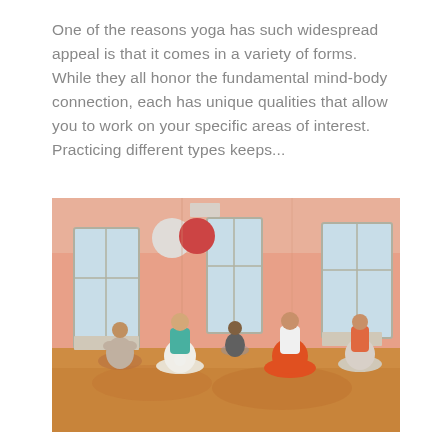One of the reasons yoga has such widespread appeal is that it comes in a variety of forms. While they all honor the fundamental mind-body connection, each has unique qualities that allow you to work on your specific areas of interest. Practicing different types keeps...
[Figure (photo): A group of people sitting in lotus meditation pose on a wooden floor in a bright peach-walled yoga studio. Several large windows let in natural light. Exercise balls hang in the background. People are wearing colorful workout attire including teal, white, and orange.]